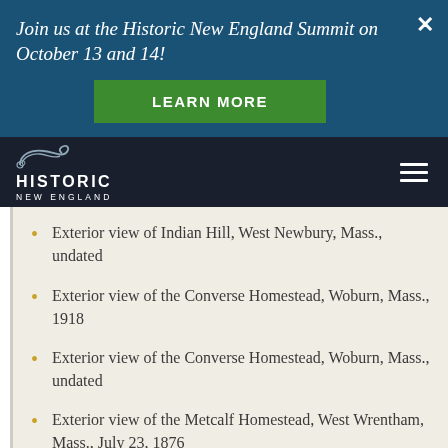Join us at the Historic New England Summit on October 13 and 14!
LEARN MORE
[Figure (logo): Historic New England logo with ornamental scroll design and text HISTORIC NEW ENGLAND]
Exterior view of Indian Hill, West Newbury, Mass., undated
Exterior view of the Converse Homestead, Woburn, Mass., 1918
Exterior view of the Converse Homestead, Woburn, Mass., undated
Exterior view of the Metcalf Homestead, West Wrentham, Mass., July 23, 1876